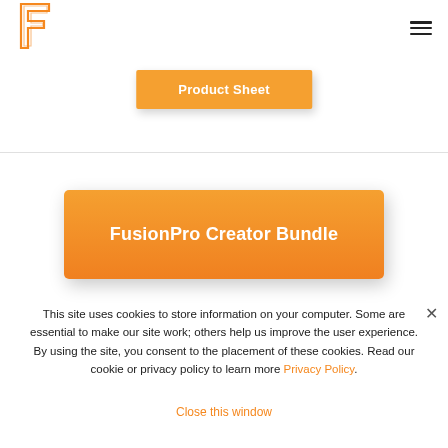[Figure (logo): FusionPro stylized F logo in orange outline]
Product Sheet
FusionPro Creator Bundle
This site uses cookies to store information on your computer. Some are essential to make our site work; others help us improve the user experience. By using the site, you consent to the placement of these cookies. Read our cookie or privacy policy to learn more Privacy Policy.
Close this window